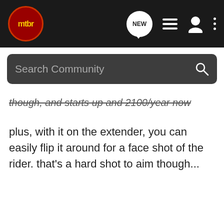mtbr [navigation bar with NEW, list, user, and more icons]
Search Community
though, and starts up and 2100/year now
plus, with it on the extender, you can easily flip it around for a face shot of the rider. that's a hard shot to aim though...
[Figure (screenshot): Advertisement for The New 2022 Silverado by Chevrolet with an Explore button and a truck image against a green/forest background.]